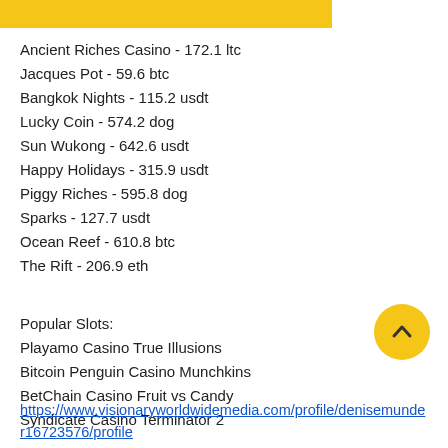[Figure (other): Gold/yellow horizontal bar at top of page]
Ancient Riches Casino - 172.1 ltc
Jacques Pot - 59.6 btc
Bangkok Nights - 115.2 usdt
Lucky Coin - 574.2 dog
Sun Wukong - 642.6 usdt
Happy Holidays - 315.9 usdt
Piggy Riches - 595.8 dog
Sparks - 127.7 usdt
Ocean Reef - 610.8 btc
The Rift - 206.9 eth
Popular Slots:
Playamo Casino True Illusions
Bitcoin Penguin Casino Munchkins
BetChain Casino Fruit vs Candy
Syndicate Casino Terminator 2
https://www.visionaryworldwidemedia.com/profile/denisemunder16723576/profile